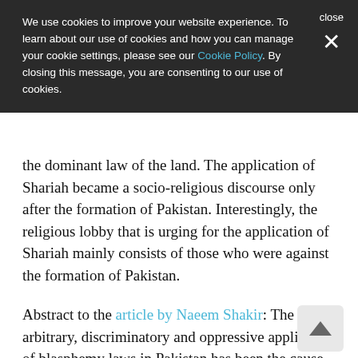We use cookies to improve your website experience. To learn about our use of cookies and how you can manage your cookie settings, please see our Cookie Policy. By closing this message, you are consenting to our use of cookies.
the dominant law of the land. The application of Shariah became a socio-religious discourse only after the formation of Pakistan. Interestingly, the religious lobby that is urging for the application of Shariah mainly consists of those who were against the formation of Pakistan.
Abstract to the article by Naeem Shakir: The arbitrary, discriminatory and oppressive application of blasphemy laws in Pakistan has been the cause of much discord and violence in recent years, affecting the non-Muslim population particularly harshly. This article traces the history of such laws and argues that the courts have done little to mitigate the adverse effects of their use by successive governments. The article calls for urgent and